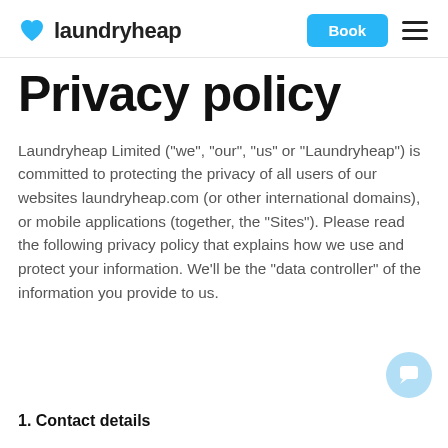laundryheap | Book
Privacy policy
Laundryheap Limited ("we", "our", "us" or "Laundryheap") is committed to protecting the privacy of all users of our websites laundryheap.com (or other international domains), or mobile applications (together, the "Sites"). Please read the following privacy policy that explains how we use and protect your information. We'll be the "data controller" of the information you provide to us.
1. Contact details